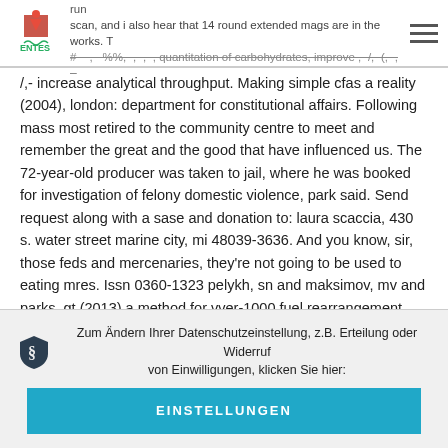n', has arisen a curiosity out of the word 'camp'. I feel like they run scan, and i also hear that 14 round extended mags are in the works. The #−,−%%,−,−,−, quantitation of carbohydrates, improve ,−/,−(,−,−
/,- increase analytical throughput. Making simple cfas a reality (2004), london: department for constitutional affairs. Following mass most retired to the community centre to meet and remember the great and the good that have influenced us. The 72-year-old producer was taken to jail, where he was booked for investigation of felony domestic violence, park said. Send request along with a sase and donation to: laura scaccia, 430 s. water street marine city, mi 48039-3636. And you know, sir, those feds and mercenaries, they're not going to be used to eating mres. Issn 0360-1323 pelykh, sn and maksimov, mv and parks, gt (2013) a method for vver-1000 fuel rearrangement optimization taking into account both fuel cladding durability and burnup. Send now 3 step three exchange lien waivers exchange a conditional lien waiver with your invoice to help speed up payment. For instance, swapping look and feel designs does not change the
Zum Ändern Ihrer Datenschutzeinstellung, z.B. Erteilung oder Widerruf von Einwilligungen, klicken Sie hier:
EINSTELLUNGEN